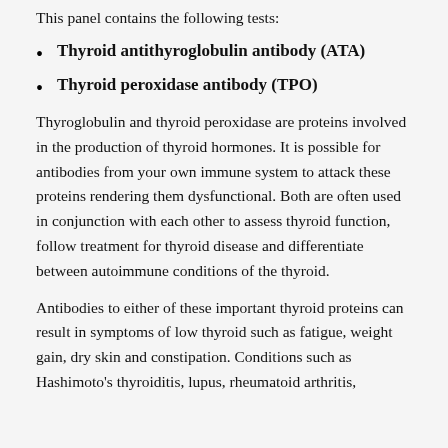This panel contains the following tests:
Thyroid antithyroglobulin antibody (ATA)
Thyroid peroxidase antibody (TPO)
Thyroglobulin and thyroid peroxidase are proteins involved in the production of thyroid hormones. It is possible for antibodies from your own immune system to attack these proteins rendering them dysfunctional. Both are often used in conjunction with each other to assess thyroid function, follow treatment for thyroid disease and differentiate between autoimmune conditions of the thyroid.
Antibodies to either of these important thyroid proteins can result in symptoms of low thyroid such as fatigue, weight gain, dry skin and constipation. Conditions such as Hashimoto's thyroiditis, lupus, rheumatoid arthritis,